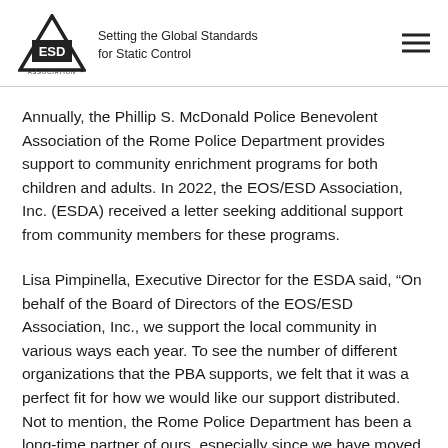ESD Association — Setting the Global Standards for Static Control
Annually, the Phillip S. McDonald Police Benevolent Association of the Rome Police Department provides support to community enrichment programs for both children and adults. In 2022, the EOS/ESD Association, Inc. (ESDA) received a letter seeking additional support from community members for these programs.
Lisa Pimpinella, Executive Director for the ESDA said, “On behalf of the Board of Directors of the EOS/ESD Association, Inc., we support the local community in various ways each year. To see the number of different organizations that the PBA supports, we felt that it was a perfect fit for how we would like our support distributed. Not to mention, the Rome Police Department has been a long-time partner of ours, especially since we have moved our headquarters to downtown Rome in